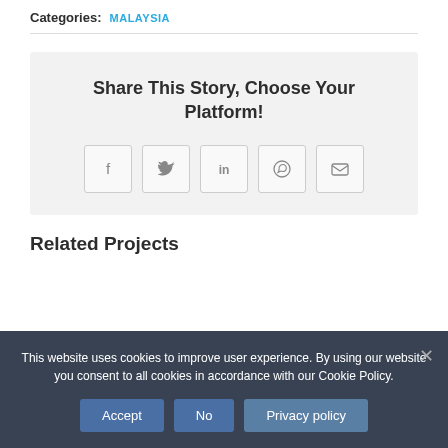Categories: MALAYSIA
Share This Story, Choose Your Platform!
[Figure (infographic): Five social sharing icon buttons: Facebook (f), Twitter (bird), LinkedIn (in), WhatsApp (phone), Email (envelope), each in a rounded square button]
Related Projects
This website uses cookies to improve user experience. By using our website you consent to all cookies in accordance with our Cookie Policy.
Accept | No | Privacy policy